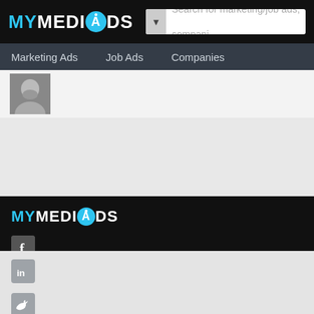MYMEDIADS - Search for marketing/job ads, companies
[Figure (screenshot): MyMediaAds website screenshot showing header with logo, search bar, navigation (Marketing Ads, Job Ads, Companies), a partial profile photo, footer with logo and social media icons (Facebook, LinkedIn, Twitter)]